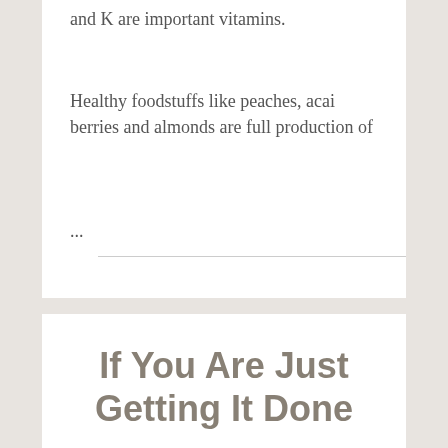and K are important vitamins.
Healthy foodstuffs like peaches, acai berries and almonds are full production of
...
If You Are Just Getting It Done